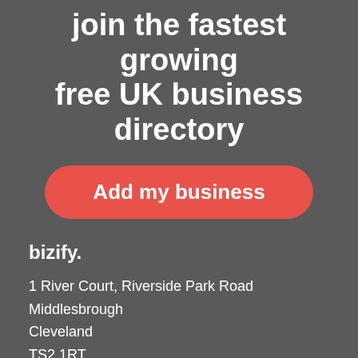join the fastest growing free UK business directory
[Figure (other): Red rounded rectangle button with white bold text 'Add my business']
bizify.
1 River Court, Riverside Park Road
Middlesbrough
Cleveland
TS2 1RT
Telephone: 0333 014 8550
Useful Links
Home
Create My Business Listing